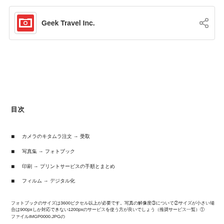Geek Travel Inc.
目次
カメラのキタムラ注文 → 受取
写真集 → フォトブック
印刷 → プリントサービスの手順とまとめ
フィルム → デジタル化
フォトブックのサイズは3600ピクセル以上が必要です。写真の解像度③について②サイズが小さい場合は900pxしか対応できない1200pxのサービスを使う方が良いでしょう（推奨サービス一覧）① 　ファイルIMGP0000.JPGの